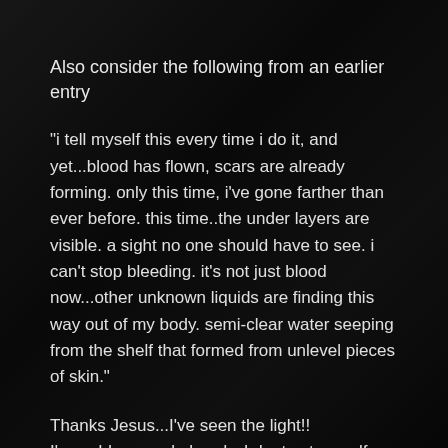Also consider the following from an earlier entry
"i tell myself this every time i do it, and yet...blood has flown, scars are already forming. only this time, i've gone farther than ever before. this time..the under layers are visible. a sight no one should have to see. i can't stop bleeding. it's not just blood now...other unknown liquids are finding this way out of my body. semi-clear water seeping from the shelf that formed from unlevel pieces of skin."
Thanks Jesus...I've seen the light!!
I've sold my soul already. I dont cut myself..or take drugs.I've never raped anyone...or murdered anyone....I do
listen to rap music. I adore the agression and passion in the lyrics of Eminem.